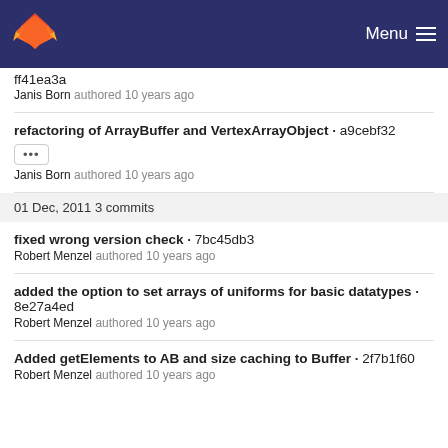Menu
ff41ea3a
Janis Born authored 10 years ago
refactoring of ArrayBuffer and VertexArrayObject · a9cebf32
Janis Born authored 10 years ago
01 Dec, 2011 3 commits
fixed wrong version check · 7bc45db3
Robert Menzel authored 10 years ago
added the option to set arrays of uniforms for basic datatypes · 8e27a4ed
Robert Menzel authored 10 years ago
Added getElements to AB and size caching to Buffer · 2f7b1f60
Robert Menzel authored 10 years ago